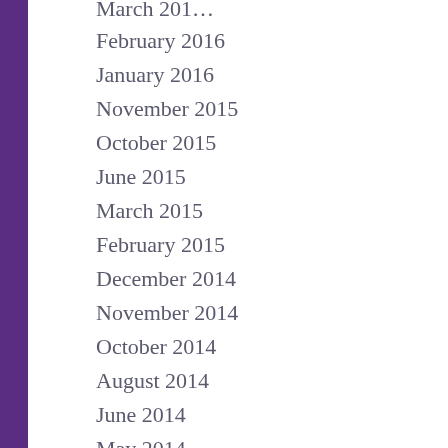February 2016
January 2016
November 2015
October 2015
June 2015
March 2015
February 2015
December 2014
November 2014
October 2014
August 2014
June 2014
May 2014